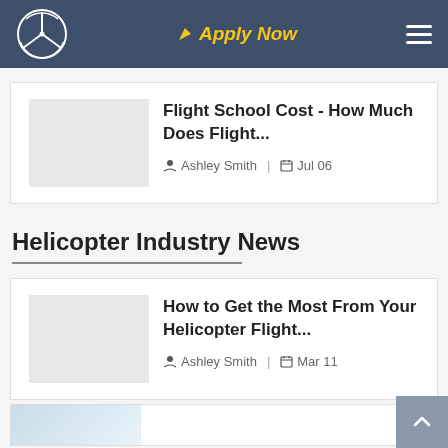Apply Now — site navigation header with logo
Flight School Cost - How Much Does Flight...
Ashley Smith | Jul 06
Helicopter Industry News
How to Get the Most From Your Helicopter Flight...
Ashley Smith | Mar 11